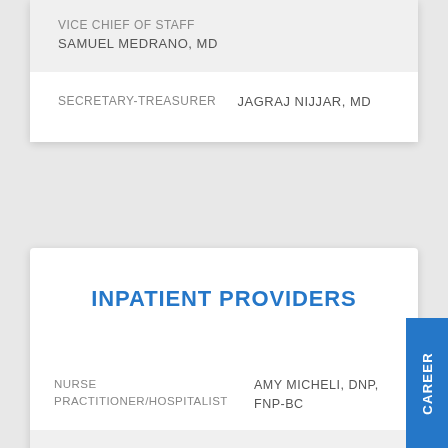| Role | Name |
| --- | --- |
| VICE CHIEF OF STAFF | SAMUEL MEDRANO, MD |
| SECRETARY-TREASURER | JAGRAJ NIJJAR, MD |
INPATIENT PROVIDERS
| Role | Name |
| --- | --- |
| NURSE PRACTITIONER/HOSPITALIST | AMY MICHELI, DNP, FNP-BC |
| NURSE PRACTITIONER/HOSPITALIST | BRANDI CHAPMAN, FNP |